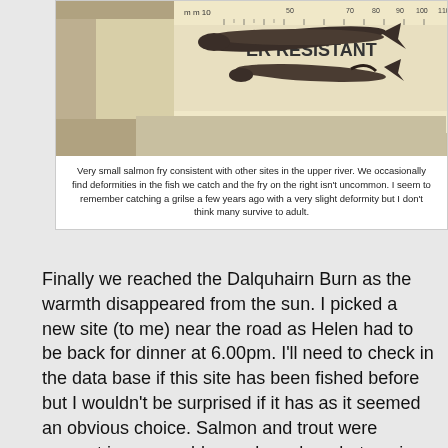[Figure (photo): Photo of very small salmon fry on a ruler/measuring board, showing fish specimens including one with a deformity on the right side]
Very small salmon fry consistent with other sites in the upper river. We occasionally find deformities in the fish we catch and the fry on the right isn't uncommon. I seem to remember catching a grilse a few years ago with a very slight deformity but I don't think many survive to adult.
Finally we reached the Dalquhairn Burn as the warmth disappeared from the sun. I picked a new site (to me) near the road as Helen had to be back for dinner at 6.00pm. I'll need to check in the data base if this site has been fished before but I wouldn't be surprised if it has as it seemed an obvious choice. Salmon and trout were present in reasonably good numbers but again I'll need to work out the densities later. It is a lovely wee burn with lots of red and black gravels.